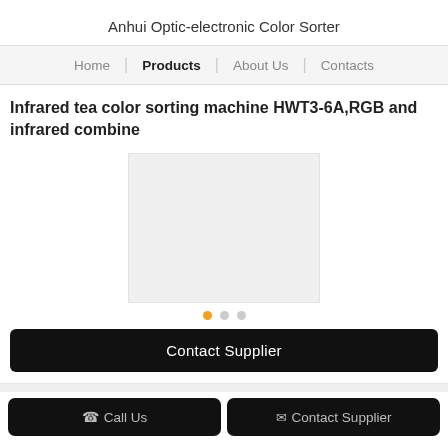Anhui Optic-electronic Color Sorter
Home | Products | About Us | Contacts
Infrared tea color sorting machine HWT3-6A,RGB and infrared combine
[Figure (photo): Product image placeholder — light grey rectangle representing the machine photo]
Contact Supplier
Call Us   Contact Supplier